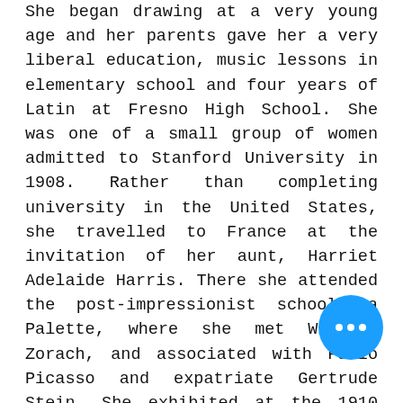She began drawing at a very young age and her parents gave her a very liberal education, music lessons in elementary school and four years of Latin at Fresno High School. She was one of a small group of women admitted to Stanford University in 1908. Rather than completing university in the United States, she travelled to France at the invitation of her aunt, Harriet Adelaide Harris. There she attended the post-impressionist school La Palette, where she met William Zorach, and associated with Pablo Picasso and expatriate Gertrude Stein. She exhibited at the 1910 Societe des Artistes Independants, and the 1911 Salon d'Automne.
In 1912, she married William Zorach December 24, 1912, in New York City. They had two daughters. They lived in New...